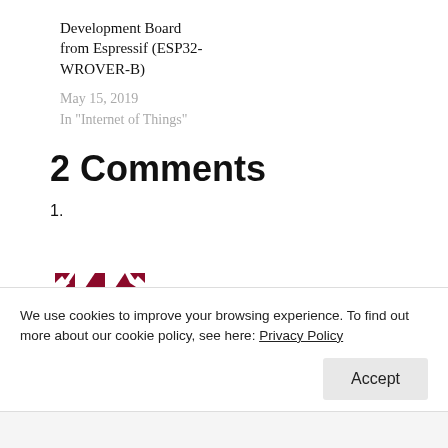Development Board from Espressif (ESP32-WROVER-B)
May 15, 2019
In "Internet of Things"
2 Comments
1.
[Figure (illustration): User avatar: abstract geometric pattern in dark red/maroon colors, square shaped]
maneesh menon on September 9, 2019 at 2:18 am
I recently read about 'MXCHIP AZ3166 IOT DevKit'. Can
We use cookies to improve your browsing experience. To find out more about our cookie policy, see here: Privacy Policy